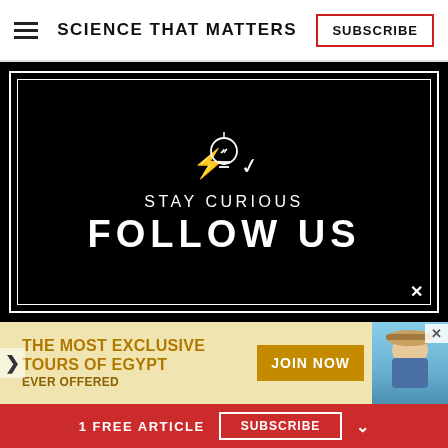SCIENCE THAT MATTERS | SUBSCRIBE
[Figure (illustration): Black panel with double white border, lightbulb icon with lightning bolt and checkmark, text STAY CURIOUS and FOLLOW US in white on black background, close X button]
[Figure (infographic): Advertisement banner: THE MOST EXCLUSIVE TOURS OF EGYPT EVER OFFERED with JOIN NOW button and photo of older man in hat]
1 FREE ARTICLE   SUBSCRIBE  ∧